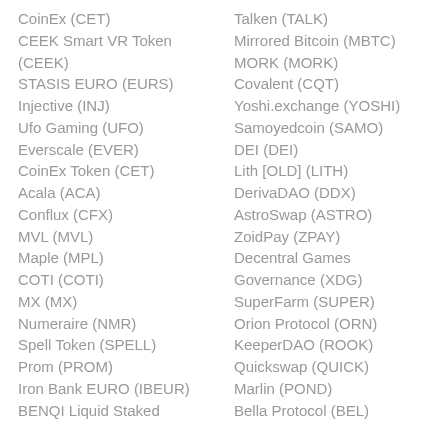CoinEx (CET)
CEEK Smart VR Token (CEEK)
STASIS EURO (EURS)
Injective (INJ)
Ufo Gaming (UFO)
Everscale (EVER)
CoinEx Token (CET)
Acala (ACA)
Conflux (CFX)
MVL (MVL)
Maple (MPL)
COTI (COTI)
MX (MX)
Numeraire (NMR)
Spell Token (SPELL)
Prom (PROM)
Iron Bank EURO (IBEUR)
BENQI Liquid Staked
Talken (TALK)
Mirrored Bitcoin (MBTC)
MORK (MORK)
Covalent (CQT)
Yoshi.exchange (YOSHI)
Samoyedcoin (SAMO)
DEI (DEI)
Lith [OLD] (LITH)
DerivaDAO (DDX)
AstroSwap (ASTRO)
ZoidPay (ZPAY)
Decentral Games Governance (XDG)
SuperFarm (SUPER)
Orion Protocol (ORN)
KeeperDAO (ROOK)
Quickswap (QUICK)
Marlin (POND)
Bella Protocol (BEL)